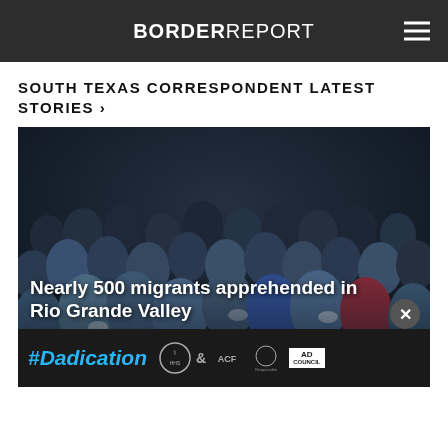BORDER REPORT
SOUTH TEXAS CORRESPONDENT LATEST STORIES ›
[Figure (photo): Crowd of migrants sitting together in a dark setting, photographed at night]
Nearly 500 migrants apprehended in Rio Grande Valley
Immigration | hours ago
#Dadication